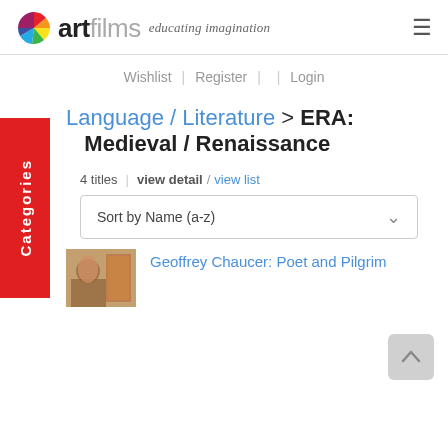artfilms — educating imagination
Wishlist | Register | | Login
Categories
Language / Literature > ERA: Medieval / Renaissance
4 titles | view detail / view list
Sort by Name (a-z)
Geoffrey Chaucer: Poet and Pilgrim